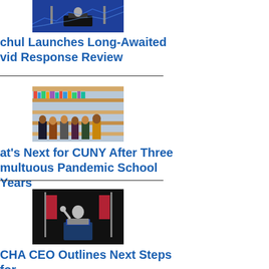[Figure (photo): Governor at podium with NY state seal, blue background with graphs]
chul Launches Long-Awaited vid Response Review
[Figure (photo): Group of six people standing in front of a bookshelf in a library]
at's Next for CUNY After Three multuous Pandemic School Years
[Figure (photo): Older man in gray jacket speaking at a podium with American flags in background]
CHA CEO Outlines Next Steps for